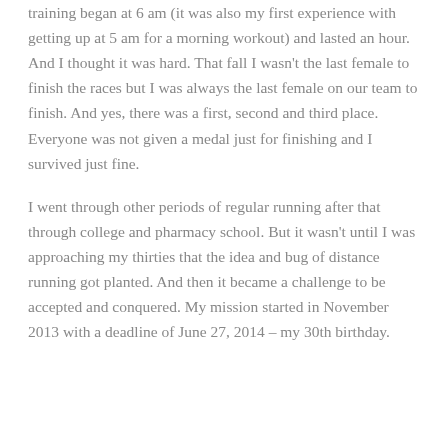training began at 6 am (it was also my first experience with getting up at 5 am for a morning workout) and lasted an hour. And I thought it was hard. That fall I wasn't the last female to finish the races but I was always the last female on our team to finish. And yes, there was a first, second and third place. Everyone was not given a medal just for finishing and I survived just fine.
I went through other periods of regular running after that through college and pharmacy school. But it wasn't until I was approaching my thirties that the idea and bug of distance running got planted. And then it became a challenge to be accepted and conquered. My mission started in November 2013 with a deadline of June 27, 2014 – my 30th birthday.